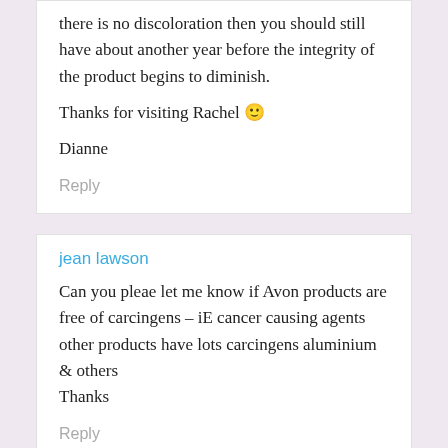there is no discoloration then you should still have about another year before the integrity of the product begins to diminish. Thanks for visiting Rachel 🙂 Dianne
Reply
jean lawson
Can you pleae let me know if Avon products are free of carcingens – iE cancer causing agents other products have lots carcingens aluminium & others Thanks
Reply